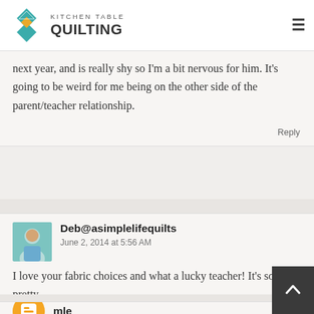Kitchen Table Quilting
next year, and is really shy so I'm a bit nervous for him. It's going to be weird for me being on the other side of the parent/teacher relationship.
Reply
Deb@asimplelifequilts
June 2, 2014 at 5:56 AM
I love your fabric choices and what a lucky teacher! It's so pretty.
Reply
mle